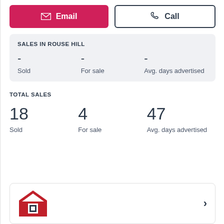Email | Call (buttons)
SALES IN ROUSE HILL
- Sold  - For sale  - Avg. days advertised
TOTAL SALES
18 Sold  4 For sale  47 Avg. days advertised
[Figure (logo): RTL Group logo - red house icon with white square in center, dark text below]